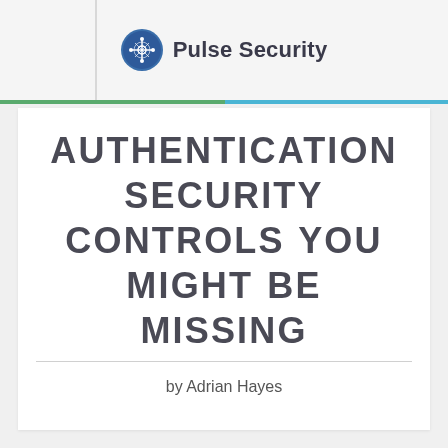Pulse Security
AUTHENTICATION SECURITY CONTROLS YOU MIGHT BE MISSING
by Adrian Hayes